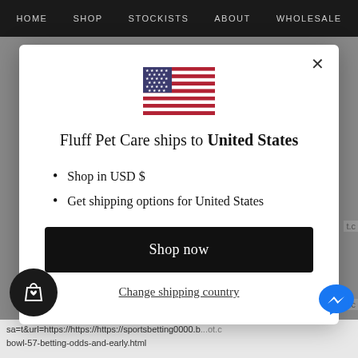HOME  SHOP  STOCKISTS  ABOUT  WHOLESALE
[Figure (screenshot): Modal dialog on a website showing a US flag, text 'Fluff Pet Care ships to United States', bullet points about USD and shipping options, a 'Shop now' button, and a 'Change shipping country' link.]
Fluff Pet Care ships to United States
Shop in USD $
Get shipping options for United States
Shop now
Change shipping country
sa=t&url=https://https://https://sportsbetting0000.b...ot.c bowl-57-betting-odds-and-early.html